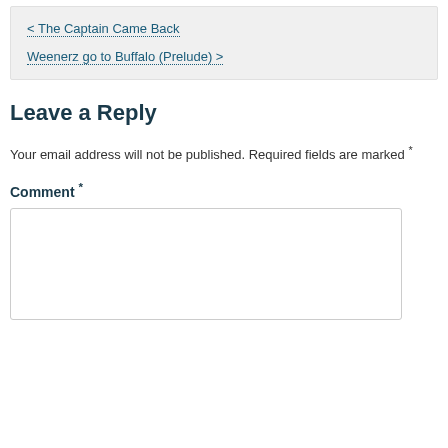< The Captain Came Back
Weenerz go to Buffalo (Prelude) >
Leave a Reply
Your email address will not be published. Required fields are marked *
Comment *